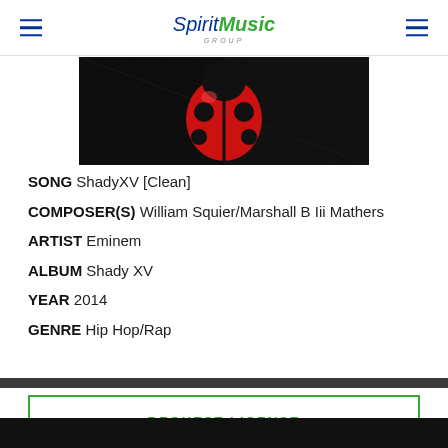Spirit Music Group
[Figure (photo): Album artwork showing a red ladybug on a dark/black background with carbon fiber texture]
SONG ShadyXV [Clean]
COMPOSER(S) William Squier/Marshall B Iii Mathers
ARTIST Eminem
ALBUM Shady XV
YEAR 2014
GENRE Hip Hop/Rap
REQUEST LICENSE